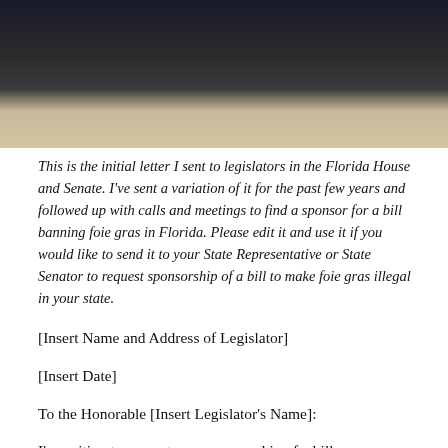[Figure (photo): Photograph showing a person in dark clothing with a light/textured background, cropped to show upper portion only]
This is the initial letter I sent to legislators in the Florida House and Senate. I've sent a variation of it for the past few years and followed up with calls and meetings to find a sponsor for a bill banning foie gras in Florida. Please edit it and use it if you would like to send it to your State Representative or State Senator to request sponsorship of a bill to make foie gras illegal in your state.
[Insert Name and Address of Legislator]
[Insert Date]
To the Honorable [Insert Legislator's Name]:
I'm writing to request your sponsorship of a bill